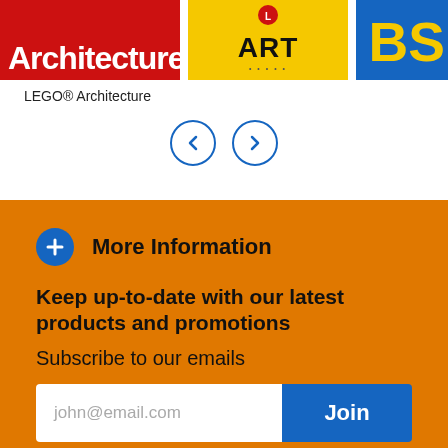[Figure (screenshot): Product carousel showing LEGO Architecture (red background), LEGO Art (yellow background with dotted text), and partially visible LEGO set (blue background)]
LEGO® Architecture
[Figure (other): Navigation arrows (left and right) for carousel]
More Information
Keep up-to-date with our latest products and promotions
Subscribe to our emails
john@email.com
Join
[Figure (other): Social media icons: Facebook and Instagram]